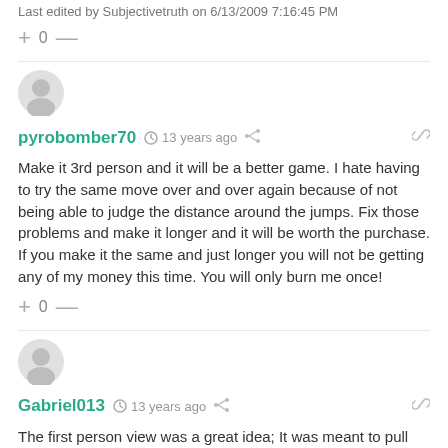Last edited by Subjectivetruth on 6/13/2009 7:16:45 PM
+ 0 —
pyrobomber70  🕐 13 years ago  🔗
Make it 3rd person and it will be a better game. I hate having to try the same move over and over again because of not being able to judge the distance around the jumps. Fix those problems and make it longer and it will be worth the purchase. If you make it the same and just longer you will not be getting any of my money this time. You will only burn me once!
+ 0 —
Gabriel013  🕐 13 years ago  🔗
The first person view was a great idea; It was meant to pull you in.

A third person god view just detracts from the whole concept